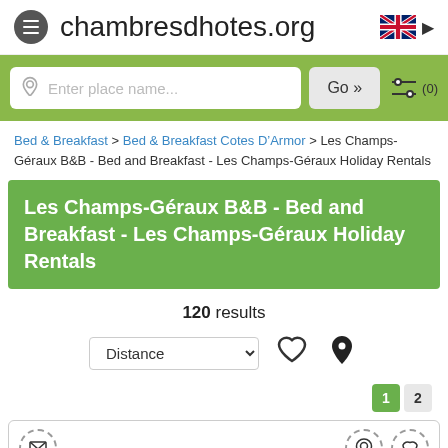chambresdhotes.org
Enter place name...   Go »   (0)
Bed & Breakfast > Bed & Breakfast Cotes D'Armor > Les Champs-Géraux B&B - Bed and Breakfast - Les Champs-Géraux Holiday Rentals
Les Champs-Géraux B&B - Bed and Breakfast - Les Champs-Géraux Holiday Rentals
120 results
Distance
1  2
[Figure (screenshot): Partial card preview showing envelope icon, location pin icon, heart icon, and a red no-entry sign image]